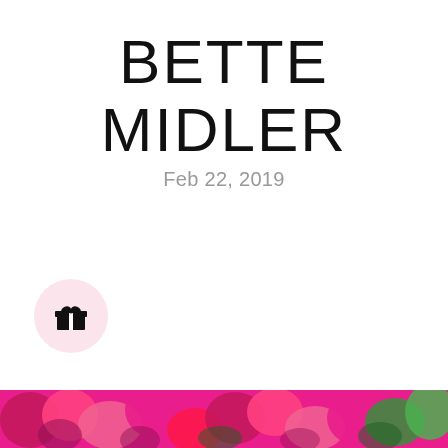BETTE MIDLER
Feb 22, 2019
[Figure (illustration): Pink gift icon inside a light pink circle]
[Figure (photo): Strip of colorful flowers (pink, magenta, green) at the bottom of the page]